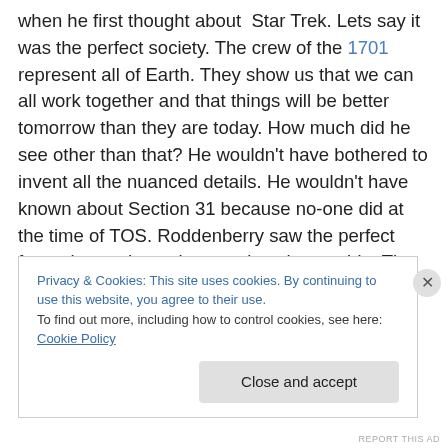when he first thought about Star Trek. Lets say it was the perfect society. The crew of the 1701 represent all of Earth. They show us that we can all work together and that things will be better tomorrow than they are today. How much did he see other than that? He wouldn't have bothered to invent all the nuanced details. He wouldn't have known about Section 31 because no-one did at the time of TOS. Roddenberry saw the perfect future but perhaps that was just the outside. The side that the Federation shows. At the end of the day although these humans are 'perfect' they still carry weapons wherever
Privacy & Cookies: This site uses cookies. By continuing to use this website, you agree to their use.
To find out more, including how to control cookies, see here: Cookie Policy
Close and accept